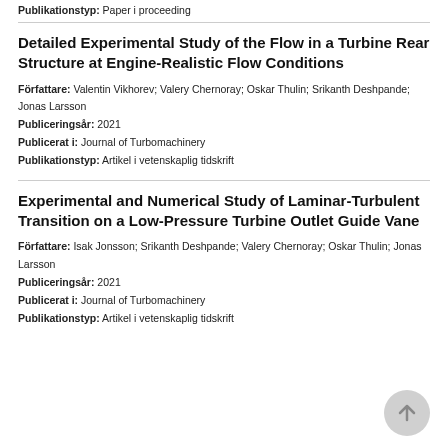Publikationstyp: Paper i proceeding
Detailed Experimental Study of the Flow in a Turbine Rear Structure at Engine-Realistic Flow Conditions
Författare: Valentin Vikhorev; Valery Chernoray; Oskar Thulin; Srikanth Deshpande; Jonas Larsson
Publiceringsår: 2021
Publicerat i: Journal of Turbomachinery
Publikationstyp: Artikel i vetenskaplig tidskrift
Experimental and Numerical Study of Laminar-Turbulent Transition on a Low-Pressure Turbine Outlet Guide Vane
Författare: Isak Jonsson; Srikanth Deshpande; Valery Chernoray; Oskar Thulin; Jonas Larsson
Publiceringsår: 2021
Publicerat i: Journal of Turbomachinery
Publikationstyp: Artikel i vetenskaplig tidskrift